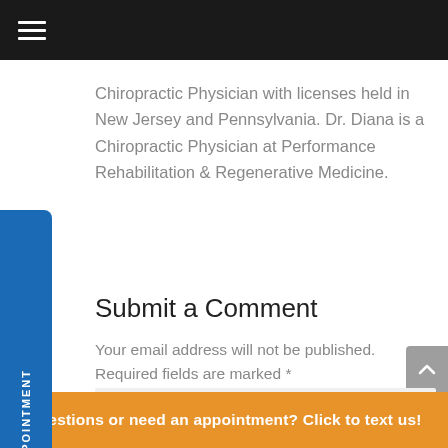☰
Chiropractic Physician with licenses held in New Jersey and Pennsylvania. Dr. Diana is a Chiropractic Physician at Performance Rehabilitation & Regenerative Medicine.
Submit a Comment
Your email address will not be published. Required fields are marked *
Comment *
Questions or need an appointment? Click to text us!